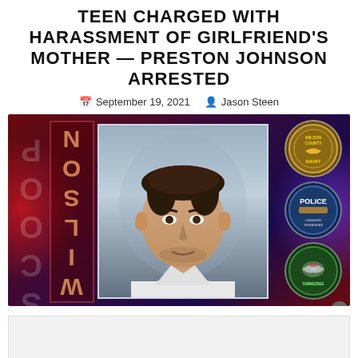TEEN CHARGED WITH HARASSMENT OF GIRLFRIEND'S MOTHER — PRESTON JOHNSON ARRESTED
September 19, 2021  Jason Steen
[Figure (photo): Mugshot photo of Preston Johnson on a dark red/purple background with police badges and WILSON/SCOOP branding. A young white male with dark hair facing the camera.]
[Figure (other): Advertisement banner area at bottom of page]